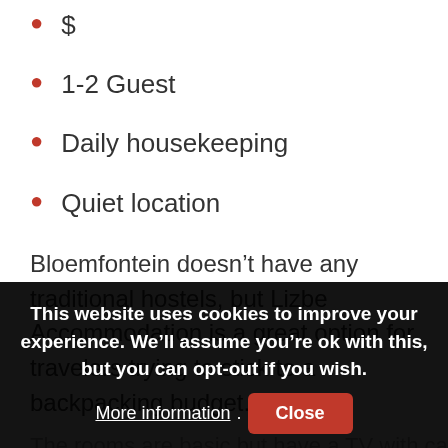$
1-2 Guest
Daily housekeeping
Quiet location
Bloemfontein doesn't have any traditional hostels, but Lizbe Accommodation is a great option for travelers trying to stick to a backpacking budget.
The rooms are basic but have a TV with cable channels and
This website uses cookies to improve your experience. We'll assume you're ok with this, but you can opt-out if you wish. More information. Close